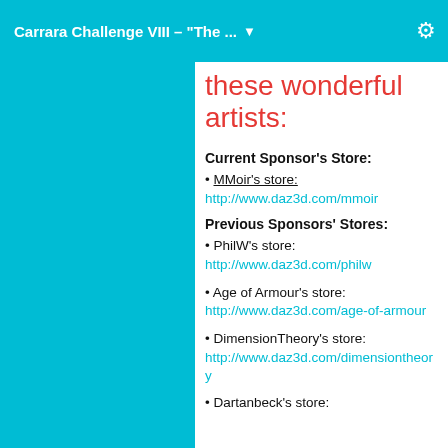Carrara Challenge VIII - "The ... ▼  ⚙
these wonderful artists:
Current Sponsor's Store:
• MMoir's store: http://www.daz3d.com/mmoir
Previous Sponsors' Stores:
• PhilW's store: http://www.daz3d.com/philw
• Age of Armour's store: http://www.daz3d.com/age-of-armour
• DimensionTheory's store: http://www.daz3d.com/dimensiontheory
• Dartanbeck's store: